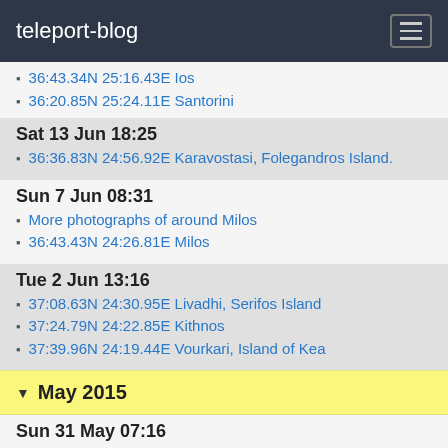teleport-blog
36:43.34N 25:16.43E Ios
36:20.85N 25:24.11E Santorini
Sat 13 Jun 18:25
36:36.83N 24:56.92E Karavostasi, Folegandros Island.
Sun 7 Jun 08:31
More photographs of around Milos
36:43.43N 24:26.81E Milos
Tue 2 Jun 13:16
37:08.63N 24:30.95E Livadhi, Serifos Island
37:24.79N 24:22.85E Kithnos
37:39.96N 24:19.44E Vourkari, Island of Kea
May 2015
Sun 31 May 07:16
37:39.35N 24:01.19E Sounio Bay, Mainland Greece
37:41.42N 23:27.10E Perdika, Aigina
Korfos
37:45.78N 23:07.82E Korfos